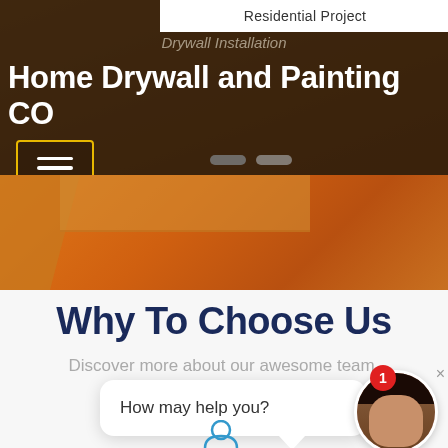Residential Project
Drywall Installation
Home Drywall and Painting CO
[Figure (screenshot): Hamburger menu button with yellow border and three white horizontal lines]
[Figure (photo): Orange interior room background suggesting a drywall installation scene]
Why To Choose Us
Discover more about our awesome team.
How may help you?
[Figure (illustration): Blue person/contact icon at the bottom center]
[Figure (photo): Avatar photo of a smiling dark-haired woman in a circular crop with a red notification badge showing 1]